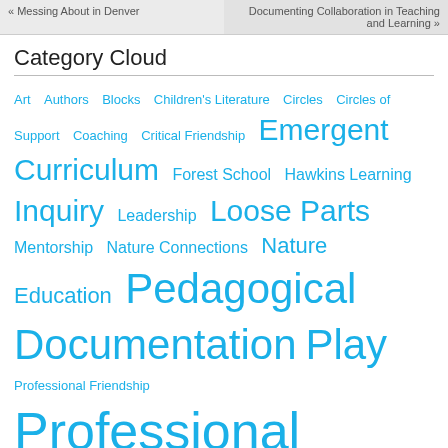« Messing About in Denver
Documenting Collaboration in Teaching and Learning »
Category Cloud
Art  Authors  Blocks  Children's Literature  Circles  Circles of Support  Coaching  Critical Friendship  Emergent Curriculum  Forest School  Hawkins Learning  Inquiry  Leadership  Loose Parts  Mentorship  Nature Connections  Nature Education  Pedagogical Documentation  Play  Professional Friendship  Professional Learning  Projects  Reggio Inspiration  Relationships  Schema Play  Social